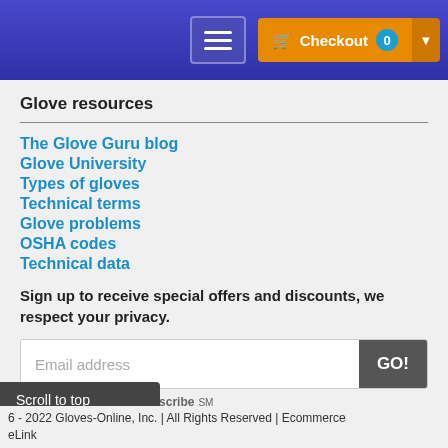Checkout 0
Glove resources
The Glove Guru blog
Glove University
Types of gloves
Technical terms
Glove problems
OSHA codes
Technical data
Sign up to receive special offers and discounts, we respect your privacy.
Email address
GO!
Privacy by SafeSubscribeSM
Scroll to top
6 - 2022 Gloves-Online, Inc. | All Rights Reserved | Ecommerce eLink